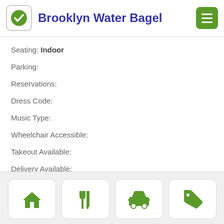Brooklyn Water Bagel
Seating: Indoor
Parking:
Reservations:
Dress Code:
Music Type:
Wheelchair Accessible:
Takeout Available:
Delivery Available:
Catering Available:
[Figure (infographic): Bottom navigation bar with four icons: home, fork and knife, car, and price tag]
[Figure (logo): Green circular logo with checkmark, top-left header. Green hamburger menu button top-right.]